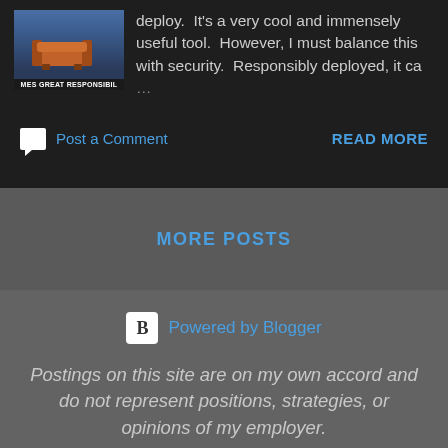[Figure (screenshot): Blog post card with thumbnail image labeled 'MES GREAT RESPONSIBIL' and preview text about deploying a tool, with 'Post a Comment' and 'READ MORE' actions on dark background]
deploy.  It's a very cool and immensely useful tool.  However, I must balance this with security.  Responsibly deployed, it ca … ...
Post a Comment
READ MORE
MORE POSTS
Powered by Blogger
Postings on this site are on my own accord and do not represent positions, strategies, or opinions of my employer.